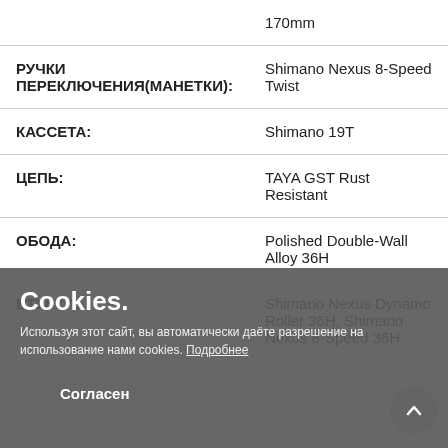| Параметр | Значение |
| --- | --- |
|  | 170mm |
| РУЧКИ ПЕРЕКЛЮЧЕНИЯ(МАНЕТКИ): | Shimano Nexus 8-Speed Twist |
| КАССЕТА: | Shimano 19T |
| ЦЕПЬ: | TAYA GST Rust Resistant |
| ОБОДА: | Polished Double-Wall Alloy 36H |
| ВТУЛКИ: | Shimano Nexus Dynamo Roller 36H, Shimano Nexus 8-Speed 36H |
Cookies. Используя этот сайт, вы автоматически даёте разрешение на использование нами cookies. Подробнее
Согласен